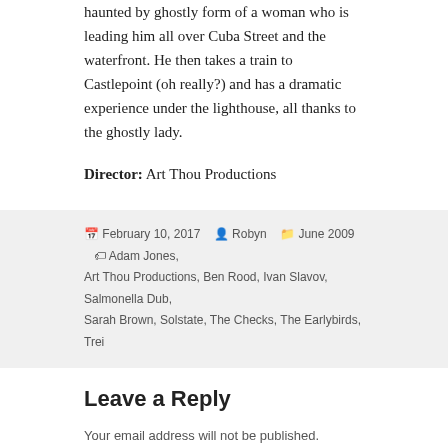haunted by ghostly form of a woman who is leading him all over Cuba Street and the waterfront. He then takes a train to Castlepoint (oh really?) and has a dramatic experience under the lighthouse, all thanks to the ghostly lady.
Director: Art Thou Productions
February 10, 2017  Robyn  June 2009  Adam Jones, Art Thou Productions, Ben Rood, Ivan Slavov, Salmonella Dub, Sarah Brown, Solstate, The Checks, The Earlybirds, Trei
Leave a Reply
Your email address will not be published. Required fields are marked *
COMMENT *